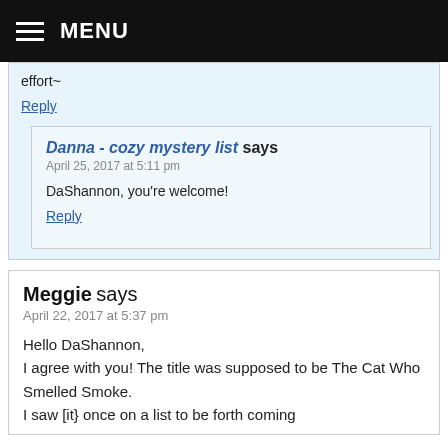MENU
effort~
Reply
Danna - cozy mystery list says
April 25, 2017 at 5:11 pm
DaShannon, you're welcome!
Reply
Meggie says
April 22, 2017 at 5:37 pm
Hello DaShannon, I agree with you! The title was supposed to be The Cat Who Smelled Smoke. I saw [it} once on a list to be forth coming